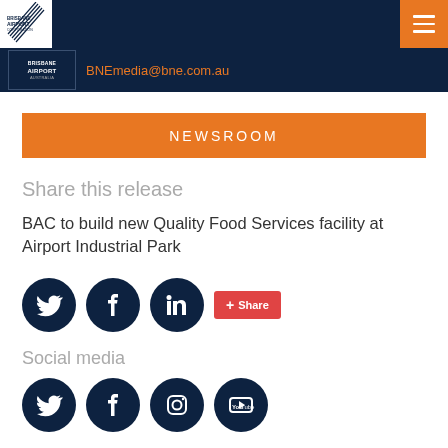Brisbane Airport Corporation – BNEmedia@bne.com.au
NEWSROOM
Share this release
BAC to build new Quality Food Services facility at Airport Industrial Park
[Figure (infographic): Row of three dark navy social media icon circles (Twitter, Facebook, LinkedIn) followed by an orange Share button]
Social media
[Figure (infographic): Row of four dark navy social media icon circles (Twitter, Facebook, Instagram, YouTube)]